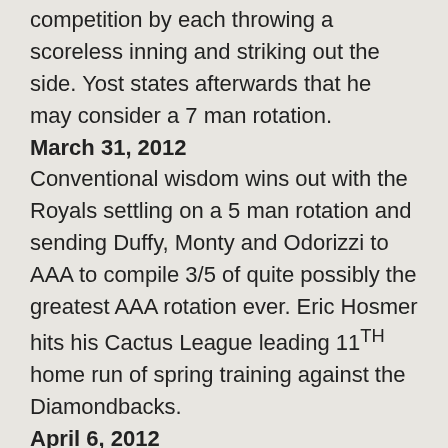competition by each throwing a scoreless inning and striking out the side. Yost states afterwards that he may consider a 7 man rotation.
March 31, 2012
Conventional wisdom wins out with the Royals settling on a 5 man rotation and sending Duffy, Monty and Odorizzi to AAA to compile 3/5 of quite possibly the greatest AAA rotation ever. Eric Hosmer hits his Cactus League leading 11th home run of spring training against the Diamondbacks.
April 6, 2012
Oswalt pitches a gem on opening day, throwing 7 scoreless innings, picking up a win the hard way in a 1-0 battle. Alcides Escobar is featured on Web Gems for his diving snag of an Albert Pujols line drive to end the game.